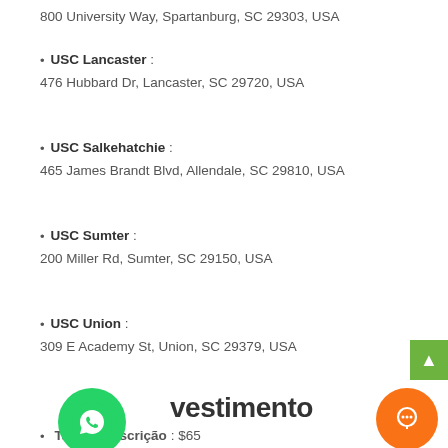800 University Way, Spartanburg, SC 29303, USA
USC Lancaster : 476 Hubbard Dr, Lancaster, SC 29720, USA
USC Salkehatchie : 465 James Brandt Blvd, Allendale, SC 29810, USA
USC Sumter : 200 Miller Rd, Sumter, SC 29150, USA
USC Union : 309 E Academy St, Union, SC 29379, USA
vestimento
Taxa de Inscrição : $65